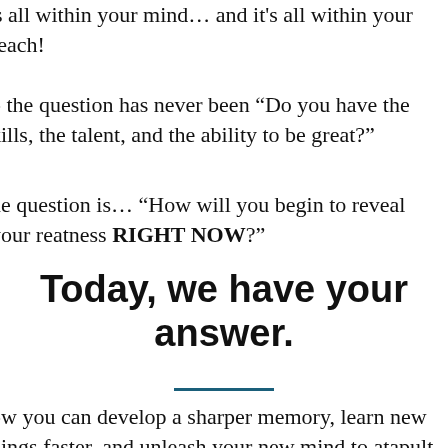's all within your mind… and it's all within your reach!
o the question has never been “Do you have the kills, the talent, and the ability to be great?”
he question is… “How will you begin to reveal your reatness RIGHT NOW?”
Today, we have your answer.
ow you can develop a sharper memory, learn new nings faster, and unleash your new mind to atapult your career and exponentially improve our education. You can be the best golfer on the